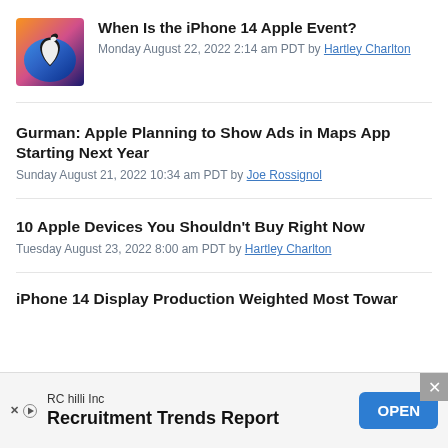[Figure (photo): Apple event thumbnail image with Apple logo on colorful background]
When Is the iPhone 14 Apple Event?
Monday August 22, 2022 2:14 am PDT by Hartley Charlton
Gurman: Apple Planning to Show Ads in Maps App Starting Next Year
Sunday August 21, 2022 10:34 am PDT by Joe Rossignol
10 Apple Devices You Shouldn't Buy Right Now
Tuesday August 23, 2022 8:00 am PDT by Hartley Charlton
iPhone 14 Display Production Weighted Most Towar
[Figure (infographic): Advertisement banner: RC hilli Inc - Recruitment Trends Report with OPEN button]